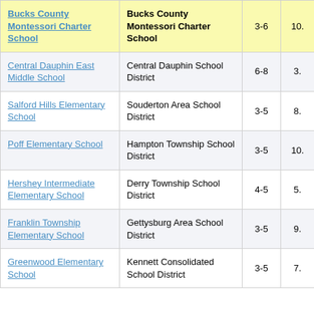| School | District | Grades | Value |
| --- | --- | --- | --- |
| Bucks County Montessori Charter School | Bucks County Montessori Charter School | 3-6 | 10. |
| Central Dauphin East Middle School | Central Dauphin School District | 6-8 | 3. |
| Salford Hills Elementary School | Souderton Area School District | 3-5 | 8. |
| Poff Elementary School | Hampton Township School District | 3-5 | 10. |
| Hershey Intermediate Elementary School | Derry Township School District | 4-5 | 5. |
| Franklin Township Elementary School | Gettysburg Area School District | 3-5 | 9. |
| Greenwood Elementary School | Kennett Consolidated School District | 3-5 | 7. |